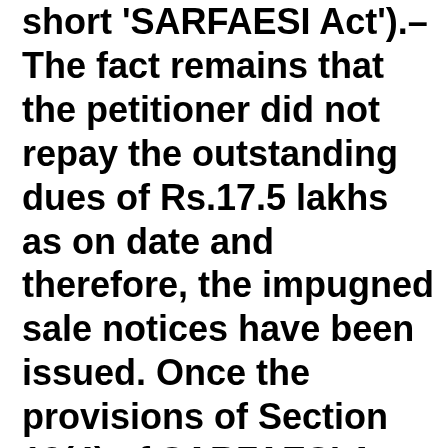short 'SARFAESI Act').– The fact remains that the petitioner did not repay the outstanding dues of Rs.17.5 lakhs as on date and therefore, the impugned sale notices have been issued. Once the provisions of Section 13(4) of SARFAESI Act have been followed, the petitioner cannot find fault with the subsequent events, as it is for the petitioner to deliver